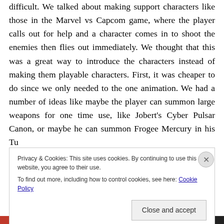difficult. We talked about making support characters like those in the Marvel vs Capcom game, where the player calls out for help and a character comes in to shoot the enemies then flies out immediately. We thought that this was a great way to introduce the characters instead of making them playable characters. First, it was cheaper to do since we only needed to the one animation. We had a number of ideas like maybe the player can summon large weapons for one time use, like Jobert's Cyber Pulsar Canon, or maybe he can summon Frogee Mercury in his Turbo Shrimp blast to name the...
Privacy & Cookies: This site uses cookies. By continuing to use this website, you agree to their use. To find out more, including how to control cookies, see here: Cookie Policy
Close and accept